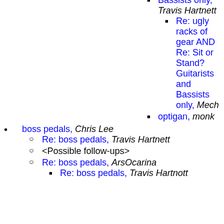Bassists only, Travis Hartnett
Re: ugly racks of gear AND Re: Sit or Stand? Guitarists and Bassists only, Mech
optigan, monk
boss pedals, Chris Lee
Re: boss pedals, Travis Hartnett
<Possible follow-ups>
Re: boss pedals, ArsOcarina
Re: boss pedals, Travis Hartnett